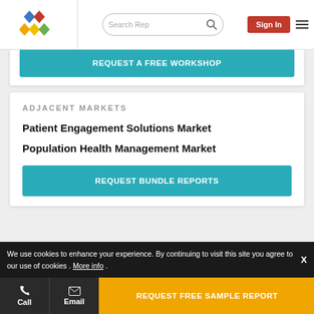Search Rep | Sign In
REQUEST A FREE WORKSHOP
ADJACENT MARKETS
Patient Engagement Solutions Market
Population Health Management Market
REQUEST BUNDLE REPORTS
We use cookies to enhance your experience. By continuing to visit this site you agree to our use of cookies . More info .
Call | Email | REQUEST FREE SAMPLE REPORT